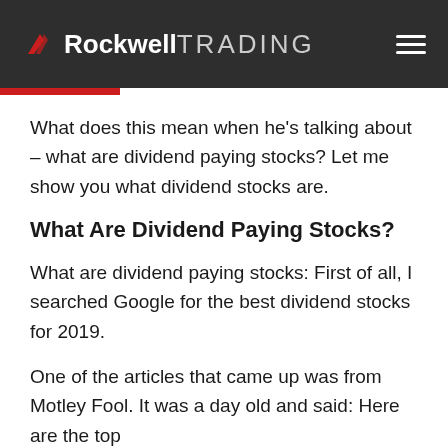Rockwell TRADING
What does this mean when he's talking about – what are dividend paying stocks? Let me show you what dividend stocks are.
What Are Dividend Paying Stocks?
What are dividend paying stocks: First of all, I searched Google for the best dividend stocks for 2019.
One of the articles that came up was from Motley Fool. It was a day old and said: Here are the top